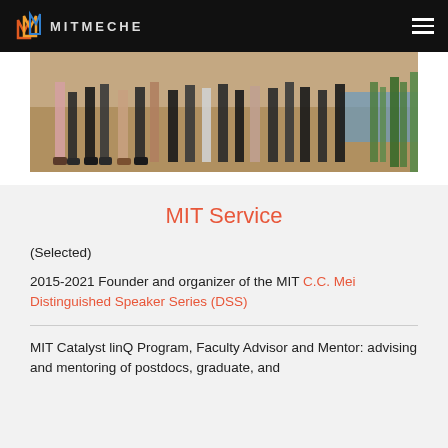MITMECHE
[Figure (photo): Photo showing legs and feet of a group of people standing outdoors on dry dirt ground near water and green plants.]
MIT Service
(Selected)
2015-2021 Founder and organizer of the MIT C.C. Mei Distinguished Speaker Series (DSS)
MIT Catalyst linQ Program, Faculty Advisor and Mentor: advising and mentoring of postdocs, graduate, and